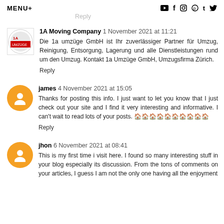MENU+
Reply
1A Moving Company  1 November 2021 at 11:21
Die 1a umzüge GmbH ist Ihr zuverlässiger Partner für Umzug, Reinigung, Entsorgung, Lagerung und alle Dienstleistungen rund um den Umzug. Kontakt 1a Umzüge GmbH, Umzugsfirma Zürich.
Reply
james  4 November 2021 at 15:05
Thanks for posting this info. I just want to let you know that I just check out your site and I find it very interesting and informative. I can't wait to read lots of your posts. 🏠🏠🏠🏠🏠🏠🏠🏠🏠🏠
Reply
jhon  6 November 2021 at 08:41
This is my first time i visit here. I found so many interesting stuff in your blog especially its discussion. From the tons of comments on your articles, I guess I am not the only one having all the enjoyment